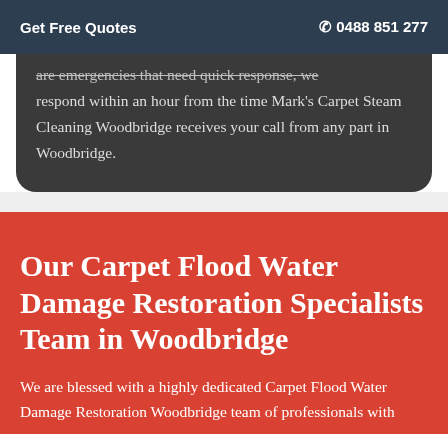Get Free Quotes   ☎ 0488 851 277
are emergencies that need quick response, we respond within an hour from the time Mark's Carpet Steam Cleaning Woodbridge receives your call from any part in Woodbridge.
Our Carpet Flood Water Damage Restoration Specialists Team in Woodbridge
We are blessed with a highly dedicated Carpet Flood Water Damage Restoration Woodbridge team of professionals with